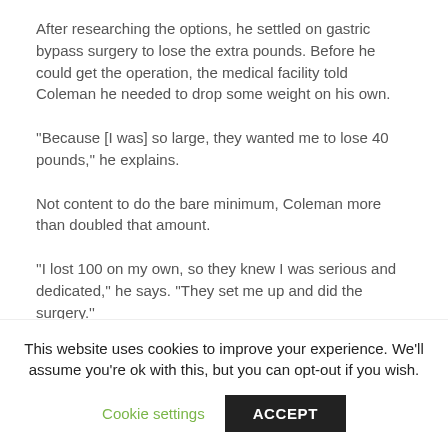After researching the options, he settled on gastric bypass surgery to lose the extra pounds. Before he could get the operation, the medical facility told Coleman he needed to drop some weight on his own.
"Because [I was] so large, they wanted me to lose 40 pounds," he explains.
Not content to do the bare minimum, Coleman more than doubled that amount.
"I lost 100 on my own, so they knew I was serious and dedicated," he says. "They set me up and did the surgery."
He officially "declared independence" from his unhealthy lifestyle on July 3, 2012, when he underwent the surgery at Live Healthy MD in Augusta, Ga., which also took charge of his pre-
This website uses cookies to improve your experience. We'll assume you're ok with this, but you can opt-out if you wish.
Cookie settings | ACCEPT